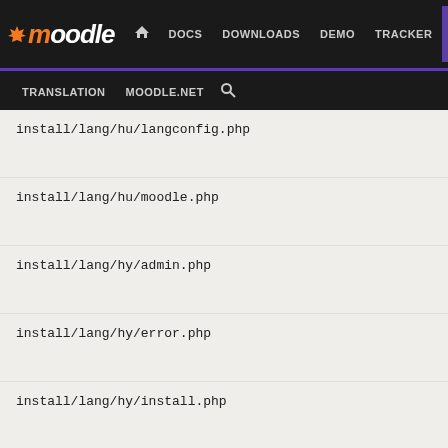moodle | DOCS | DOWNLOADS | DEMO | TRACKER | DEV | TRANSLATION | MOODLE.NET
install/lang/hu/langconfig.php
install/lang/hu/moodle.php
install/lang/hy/admin.php
install/lang/hy/error.php
install/lang/hy/install.php